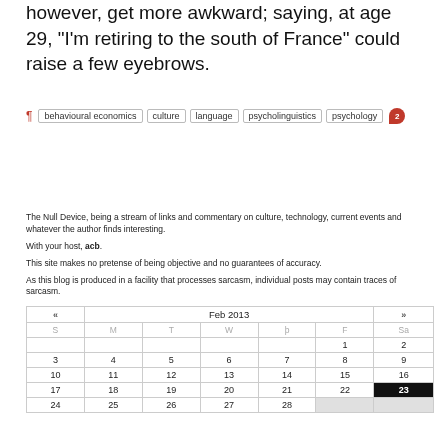however, get more awkward; saying, at age 29, “I’m retiring to the south of France” could raise a few eyebrows.
behavioural economics | culture | language | psycholinguistics | psychology [2 comments]
The Null Device, being a stream of links and commentary on culture, technology, current events and whatever the author finds interesting.
With your host, acb.
This site makes no pretense of being objective and no guarantees of accuracy.
As this blog is produced in a facility that processes sarcasm, individual posts may contain traces of sarcasm.
| « | Feb 2013 |  |  |  |  | » |
| --- | --- | --- | --- | --- | --- | --- |
| S | M | T | W | þ | F | Sa |
|  |  |  |  |  | 1 | 2 |
| 3 | 4 | 5 | 6 | 7 | 8 | 9 |
| 10 | 11 | 12 | 13 | 14 | 15 | 16 |
| 17 | 18 | 19 | 20 | 21 | 22 | 23 |
| 24 | 25 | 26 | 27 | 28 |  |  |